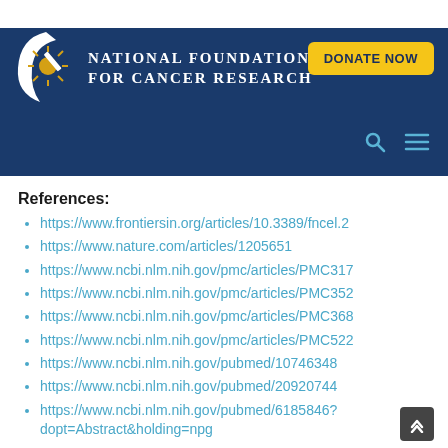National Foundation for Cancer Research — DONATE NOW
References:
https://www.frontiersin.org/articles/10.3389/fncel.2
https://www.nature.com/articles/1205651
https://www.ncbi.nlm.nih.gov/pmc/articles/PMC317
https://www.ncbi.nlm.nih.gov/pmc/articles/PMC352
https://www.ncbi.nlm.nih.gov/pmc/articles/PMC368
https://www.ncbi.nlm.nih.gov/pmc/articles/PMC522
https://www.ncbi.nlm.nih.gov/pubmed/10746348
https://www.ncbi.nlm.nih.gov/pubmed/20920744
https://www.ncbi.nlm.nih.gov/pubmed/6185846?dopt=Abstract&holding=npg